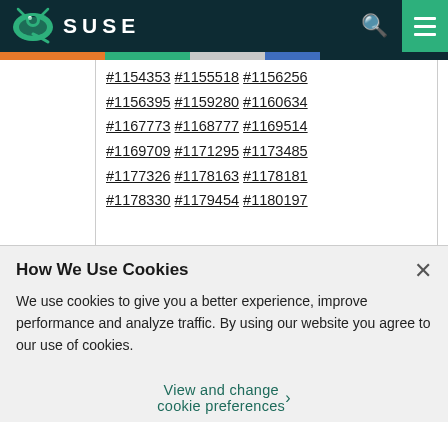SUSE
| #1154353 #1155518 #1156256 |
| #1156395 #1159280 #1160634 |
| #1167773 #1168777 #1169514 |
| #1169709 #1171295 #1173485 |
| #1177326 #1178163 #1178181 |
| #1178330 #1179454 #1180197 |
How We Use Cookies
We use cookies to give you a better experience, improve performance and analyze traffic. By using our website you agree to our use of cookies.
View and change cookie preferences >